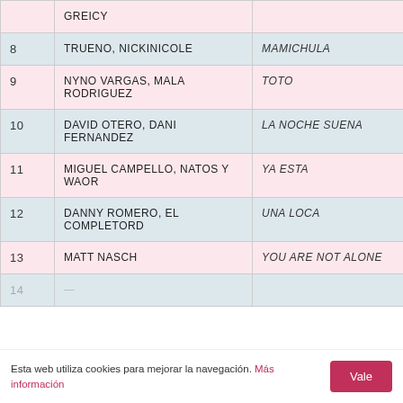| # | Artist | Song |
| --- | --- | --- |
|  | GREICY |  |
| 8 | TRUENO, NICKINICOLE | MAMICHULA |
| 9 | NYNO VARGAS, MALA RODRIGUEZ | TOTO |
| 10 | DAVID OTERO, DANI FERNANDEZ | LA NOCHE SUENA |
| 11 | MIGUEL CAMPELLO, NATOS Y WAOR | YA ESTA |
| 12 | DANNY ROMERO, EL COMPLETORD | UNA LOCA |
| 13 | MATT NASCH | YOU ARE NOT ALONE |
| 14 | ... | ... |
Esta web utiliza cookies para mejorar la navegación. Más información  Vale